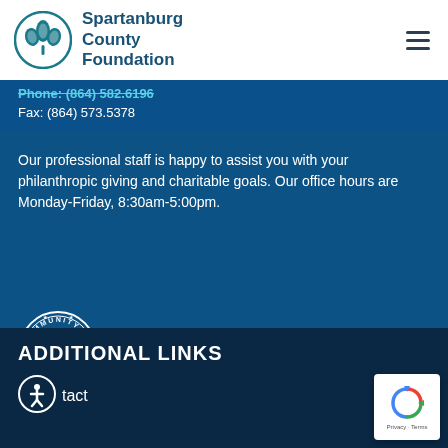[Figure (logo): Spartanburg County Foundation logo with circular tree emblem and text]
Phone: (864) 582.6196
Fax: (864) 573.5378
Our professional staff is happy to assist you with your philanthropic giving and charitable goals. Our office hours are Monday-Friday, 8:30am-5:00pm.
[Figure (logo): Community Accredited Foundation circular stamp badge]
Confirmed in compliance with National Standards for U.S. Community Foundations.
ADDITIONAL LINKS
Contact